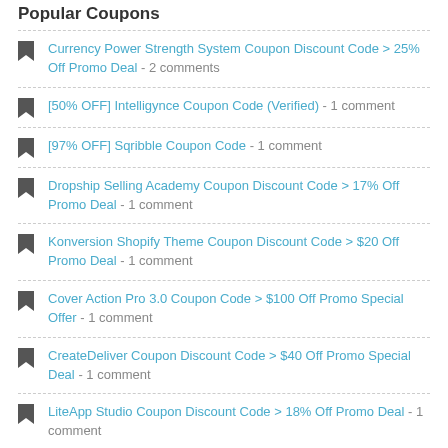Popular Coupons
Currency Power Strength System Coupon Discount Code > 25% Off Promo Deal - 2 comments
[50% OFF] Intelligynce Coupon Code (Verified) - 1 comment
[97% OFF] Sqribble Coupon Code - 1 comment
Dropship Selling Academy Coupon Discount Code > 17% Off Promo Deal - 1 comment
Konversion Shopify Theme Coupon Discount Code > $20 Off Promo Deal - 1 comment
Cover Action Pro 3.0 Coupon Code > $100 Off Promo Special Offer - 1 comment
CreateDeliver Coupon Discount Code > $40 Off Promo Special Deal - 1 comment
LiteApp Studio Coupon Discount Code > 18% Off Promo Deal - 1 comment